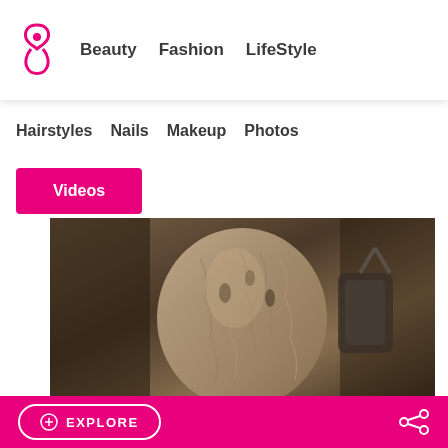Beauty  Fashion  LifeStyle
Hairstyles  Nails  Makeup  Photos
Videos
[Figure (photo): Fashion photo showing a model in a fur or textured coat holding an accessory, sepia/warm toned]
Burberry, Fall 2012 fashion, Burberry fall 2012, Burberry Regent Street Collection, Burberry Regent Street Capsule Line, Burberry Regent Street, Burberry Regent Street boutique
EXPLORE